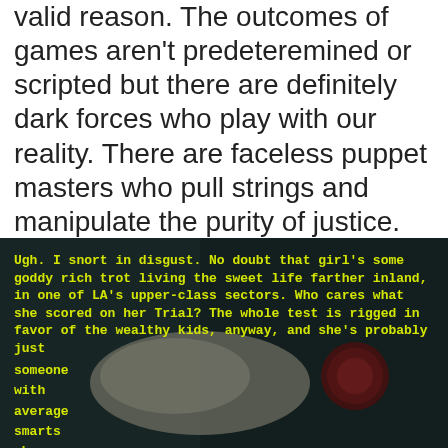valid reason. The outcomes of games aren't predeteremined or scripted but there are definitely dark forces who play with our reality. There are faceless puppet masters who pull strings and manipulate the purity of justice. It's not necessarily a full-on conspiracy, but it's certainly not fair. And that's why the NBA remains the only game that matters: Pro basketball is exactly like life. — Chuck Klosterman
[Figure (photo): Dark background image (close-up of hands/objects with a reddish circular element) overlaid with yellow monospace text: 'Ugh. I snort in disgust. No doubt that girl's some goddy rich trot living the sweet life farther inland, in one of LA's upper-class sectors. Who cares what she scored on her Trial? The whole test is rigged in favor of the wealthy kids, anyway, and she's probably just someone with average smarts who bought her high']